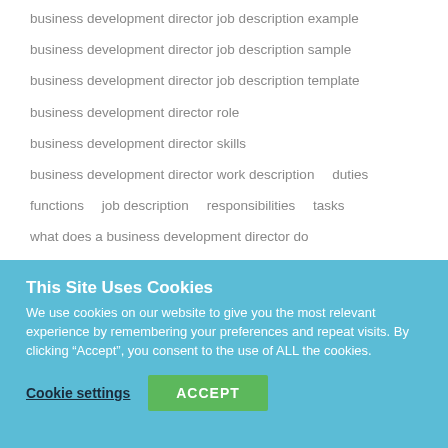business development director job description example
business development director job description sample
business development director job description template
business development director role
business development director skills
business development director work description   duties
functions   job description   responsibilities   tasks
what does a business development director do
This Site Uses Cookies
We use cookies on our website to give you the most relevant experience by remembering your preferences and repeat visits. By clicking “Accept”, you consent to the use of ALL the cookies.
Cookie settings   ACCEPT